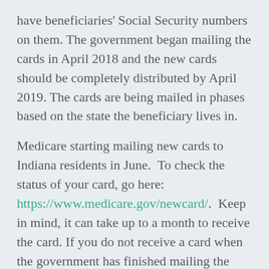have beneficiaries' Social Security numbers on them. The government began mailing the cards in April 2018 and the new cards should be completely distributed by April 2019. The cards are being mailed in phases based on the state the beneficiary lives in.
Medicare starting mailing new cards to Indiana residents in June.  To check the status of your card, go here: https://www.medicare.gov/newcard/.  Keep in mind, it can take up to a month to receive the card. If you do not receive a card when the government has finished mailing the cards in Indiana (August), contact Medicare right away at 1-800-MEDICARE (633-4227) or 1-877-486-2048